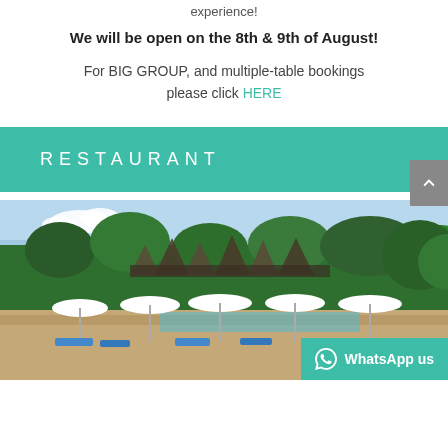experience!
We will be open on the 8th & 9th of August!
For BIG GROUP, and multiple-table bookings please click HERE
RESTAURANT
[Figure (photo): Outdoor restaurant and pool area with white sun umbrellas, lounge chairs, tropical trees and a building structure in the background under a blue sky.]
WhatsApp us